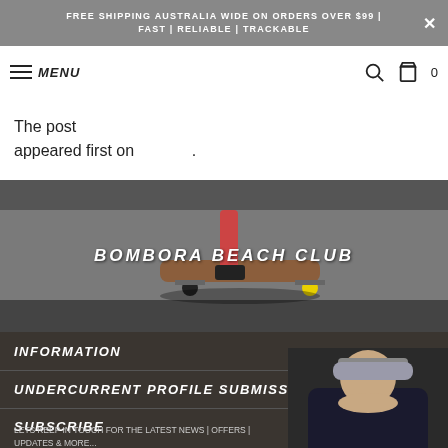FREE SHIPPING AUSTRALIA WIDE ON ORDERS OVER $99 | FAST | RELIABLE | TRACKABLE
MENU
The post appeared first on .
[Figure (photo): Photo of a skateboard on pavement with BOMBORA BEACH CLUB text overlay]
INFORMATION
UNDERCURRENT PROFILE SUBMISSION
SUBSCRIBE
LETS KEEP IN TOUCH FOR THE LATEST NEWS | OFFERS | UPDATES & MORE...
[Figure (photo): Partial photo of a person wearing a cap at the bottom right]